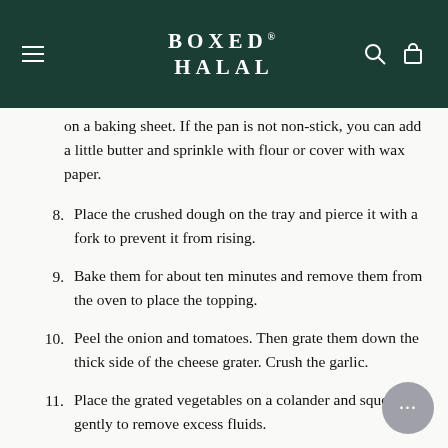BOXED HALAL
on a baking sheet. If the pan is not non-stick, you can add a little butter and sprinkle with flour or cover with wax paper.
8. Place the crushed dough on the tray and pierce it with a fork to prevent it from rising.
9. Bake them for about ten minutes and remove them from the oven to place the topping.
10. Peel the onion and tomatoes. Then grate them down the thick side of the cheese grater. Crush the garlic.
11. Place the grated vegetables on a colander and squeeze gently to remove excess fluids.